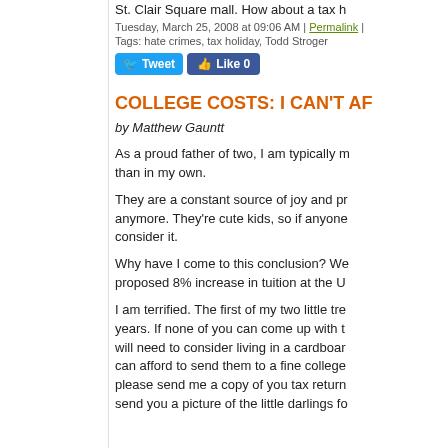St. Clair Square mall. How about a tax h
Tuesday, March 25, 2008 at 09:06 AM | Permalink |
Tags: hate crimes, tax holiday, Todd Stroger
[Figure (other): Tweet button and Like 0 button]
COLLEGE COSTS: I CAN'T AF
by Matthew Gauntt
As a proud father of two, I am typically m than in my own.
They are a constant source of joy and pr anymore. They're cute kids, so if anyone consider it.
Why have I come to this conclusion? We proposed 8% increase in tuition at the U
I am terrified. The first of my two little tre years. If none of you can come up with t will need to consider living in a cardboar can afford to send them to a fine college please send me a copy of you tax return send you a picture of the little darlings fo